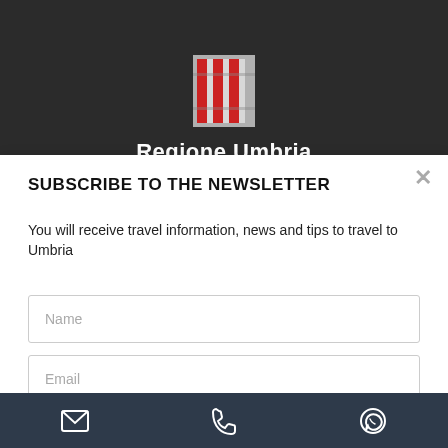[Figure (logo): Regione Umbria logo — vertical striped emblem with red and white vertical bars on grey background]
Regione Umbria
SUBSCRIBE TO THE NEWSLETTER
You will receive travel information, news and tips to travel to Umbria
Name
Email
I accept the Privacy Policy Privacy
Email | Phone | WhatsApp icons